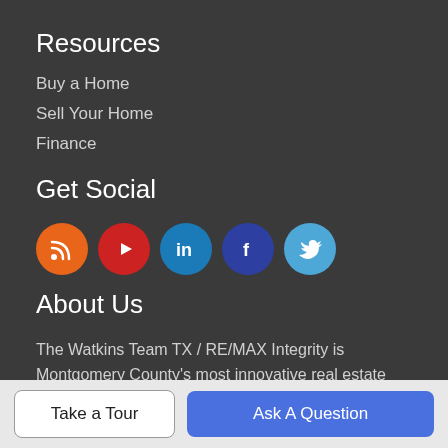Resources
Buy a Home
Sell Your Home
Finance
Get Social
[Figure (illustration): Five social media icons in circles: RSS (orange), YouTube (red), LinkedIn (blue), Facebook (dark blue), Twitter (light blue)]
About Us
The Watkins Team TX / RE/MAX Integrity is Montgomery County's most innovative real estate team.
The Watkins Team TX | RE/MAX Integrity II
13731 FM 1097 W. Ste. 600, Willis, TX 77318
Take a Tour
Ask A Question